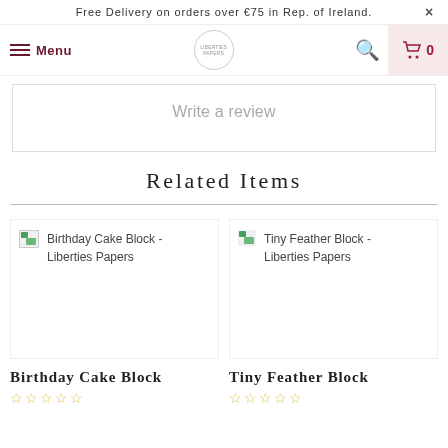Free Delivery on orders over €75 in Rep. of Ireland.  ×
Menu  [logo: LIBERTIES PAPERS]  [search]  [cart: 0]
Write a review
Related Items
Birthday Cake Block - Liberties Papers
Tiny Feather Block - Liberties Papers
Birthday Cake Block
Tiny Feather Block